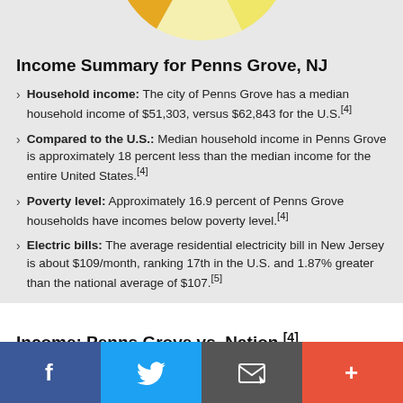[Figure (pie-chart): Partial pie/donut chart visible at top of page, showing income distribution slices in yellow-green, light yellow, and orange colors.]
Income Summary for Penns Grove, NJ
Household income: The city of Penns Grove has a median household income of $51,303, versus $62,843 for the U.S.[4]
Compared to the U.S.: Median household income in Penns Grove is approximately 18 percent less than the median income for the entire United States.[4]
Poverty level: Approximately 16.9 percent of Penns Grove households have incomes below poverty level.[4]
Electric bills: The average residential electricity bill in New Jersey is about $109/month, ranking 17th in the U.S. and 1.87% greater than the national average of $107.[5]
Income: Penns Grove vs. Nation [4]